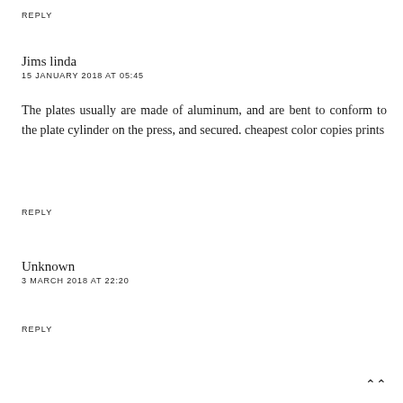REPLY
Jims linda
15 JANUARY 2018 AT 05:45
The plates usually are made of aluminum, and are bent to conform to the plate cylinder on the press, and secured. cheapest color copies prints
REPLY
Unknown
3 MARCH 2018 AT 22:20
REPLY